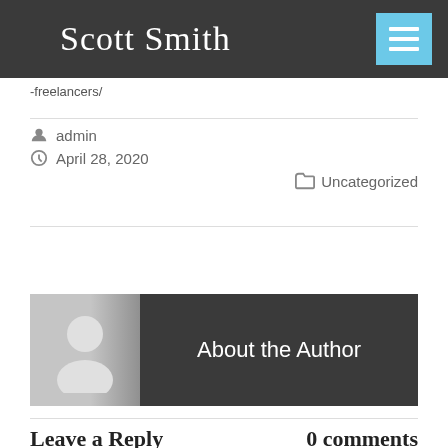Scott Smith
-freelancers/
admin
April 28, 2020
Uncategorized
[Figure (illustration): About the Author block with avatar silhouette on left and dark background with title text on right]
Leave a Reply
0 comments